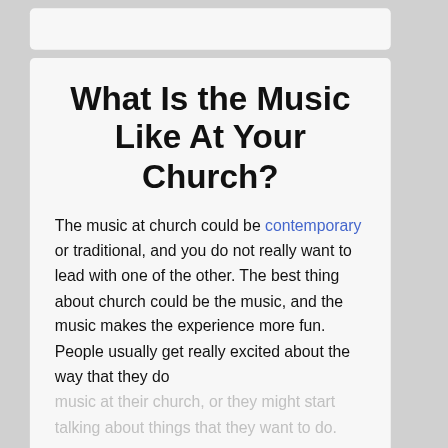What Is the Music Like At Your Church?
The music at church could be contemporary or traditional, and you do not really want to lead with one of the other. The best thing about church could be the music, and the music makes the experience more fun. People usually get really excited about the way that they do music at their church, or they might start talking about things that they want to do.